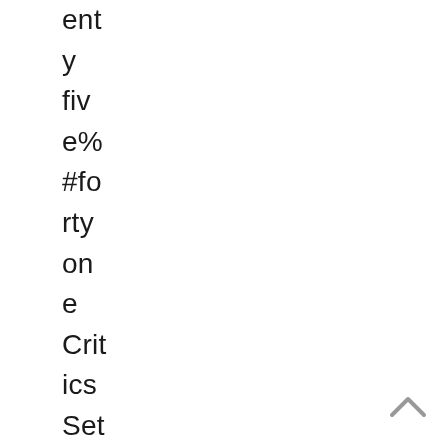ent
y
fiv
e%
#fo
rty
on
e
Crit
ics
Set
tle
me
nt:
It
co
uld